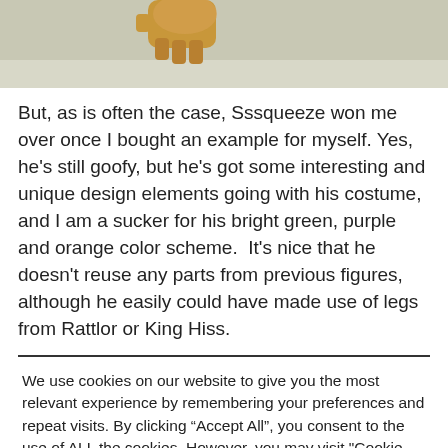[Figure (photo): Partial photo of a toy figure (hand/fist visible) on a light grey-green background, cropped at top of page]
But, as is often the case, Sssqueeze won me over once I bought an example for myself. Yes, he’s still goofy, but he’s got some interesting and unique design elements going with his costume, and I am a sucker for his bright green, purple and orange color scheme.  It’s nice that he doesn’t reuse any parts from previous figures, although he easily could have made use of legs from Rattlor or King Hiss.
We use cookies on our website to give you the most relevant experience by remembering your preferences and repeat visits. By clicking “Accept All”, you consent to the use of ALL the cookies. However, you may visit "Cookie Settings" to provide a controlled consent.